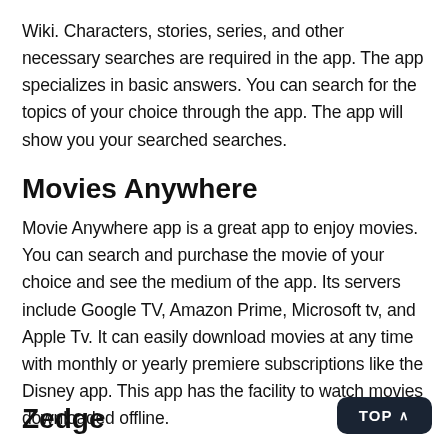Wiki. Characters, stories, series, and other necessary searches are required in the app. The app specializes in basic answers. You can search for the topics of your choice through the app. The app will show you your searched searches.
Movies Anywhere
Movie Anywhere app is a great app to enjoy movies. You can search and purchase the movie of your choice and see the medium of the app. Its servers include Google TV, Amazon Prime, Microsoft tv, and Apple Tv. It can easily download movies at any time with monthly or yearly premiere subscriptions like the Disney app. This app has the facility to watch movies downloaded offline.
Zedge